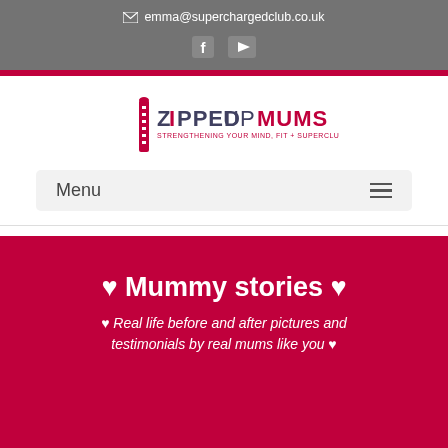emma@superchargedclub.co.uk
[Figure (logo): Zipped Up Mums logo with zipper graphic and tagline]
Menu
♥ Mummy stories ♥
♥ Real life before and after pictures and testimonials by real mums like you ♥